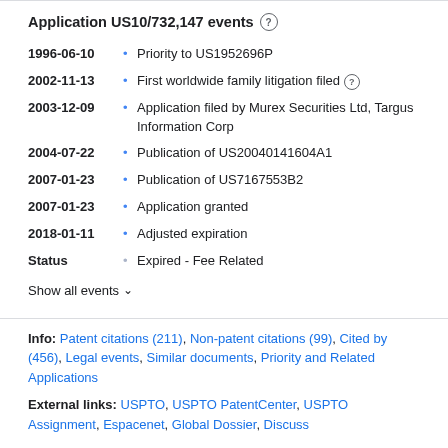Application US10/732,147 events
1996-06-10 • Priority to US1952696P
2002-11-13 • First worldwide family litigation filed
2003-12-09 • Application filed by Murex Securities Ltd, Targus Information Corp
2004-07-22 • Publication of US20040141604A1
2007-01-23 • Publication of US7167553B2
2007-01-23 • Application granted
2018-01-11 • Adjusted expiration
Status • Expired - Fee Related
Show all events ∨
Info: Patent citations (211), Non-patent citations (99), Cited by (456), Legal events, Similar documents, Priority and Related Applications
External links: USPTO, USPTO PatentCenter, USPTO Assignment, Espacenet, Global Dossier, Discuss